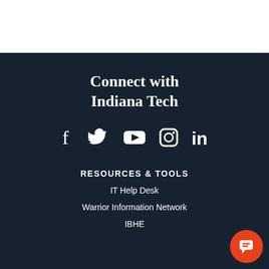Connect with Indiana Tech
[Figure (illustration): Social media icons: Facebook, Twitter, YouTube, Instagram, LinkedIn in white on dark background]
RESOURCES & TOOLS
IT Help Desk
Warrior Information Network
IBHE